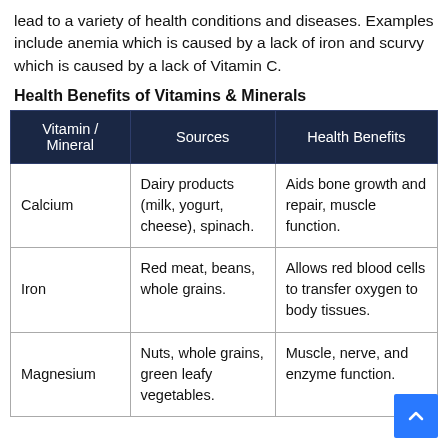lead to a variety of health conditions and diseases. Examples include anemia which is caused by a lack of iron and scurvy which is caused by a lack of Vitamin C.
Health Benefits of Vitamins & Minerals
| Vitamin / Mineral | Sources | Health Benefits |
| --- | --- | --- |
| Calcium | Dairy products (milk, yogurt, cheese), spinach. | Aids bone growth and repair, muscle function. |
| Iron | Red meat, beans, whole grains. | Allows red blood cells to transfer oxygen to body tissues. |
| Magnesium | Nuts, whole grains, green leafy vegetables. | Muscle, nerve, and enzyme function. |